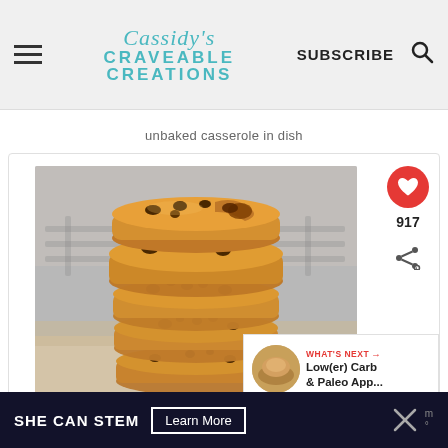Cassidy's Craveable Creations — SUBSCRIBE
unbaked casserole in dish
[Figure (photo): Stack of chocolate chip cookies on a cooling rack, close-up photo inside a white card container with heart/share buttons on the right side]
WHAT'S NEXT → Low(er) Carb & Paleo App...
SHE CAN STEM  Learn More